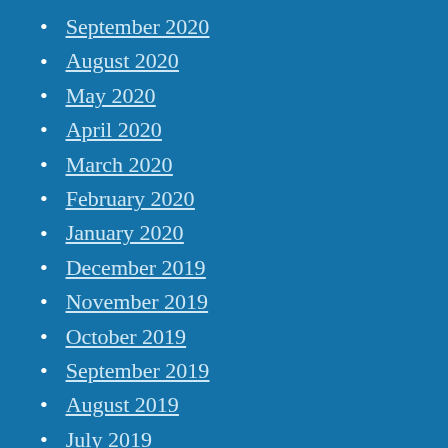September 2020
August 2020
May 2020
April 2020
March 2020
February 2020
January 2020
December 2019
November 2019
October 2019
September 2019
August 2019
July 2019
June 2019
May 2019
April 2019
March 2019